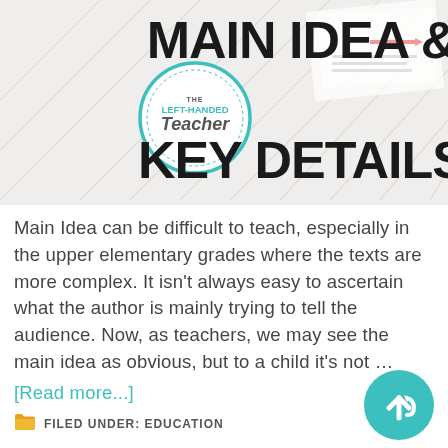[Figure (illustration): Banner image showing 'MAIN IDEA & KEY DETAILS' title text in bold black on a light background with diagonal lines, accompanied by a circular logo for 'The Left-Handed Teacher' in teal/turquoise on the left side. Documents and worksheets are visible in the background.]
Main Idea can be difficult to teach, especially in the upper elementary grades where the texts are more complex. It isn't always easy to ascertain what the author is mainly trying to tell the audience. Now, as teachers, we may see the main idea as obvious, but to a child it's not …
[Read more...]
FILED UNDER: EDUCATION